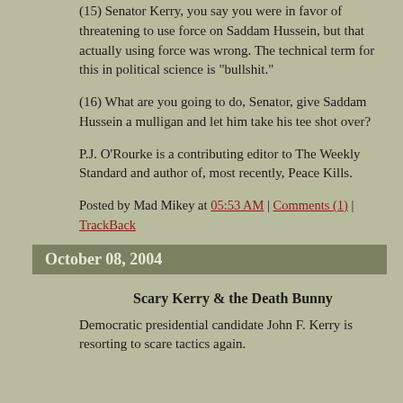(15) Senator Kerry, you say you were in favor of threatening to use force on Saddam Hussein, but that actually using force was wrong. The technical term for this in political science is "bullshit."
(16) What are you going to do, Senator, give Saddam Hussein a mulligan and let him take his tee shot over?
P.J. O'Rourke is a contributing editor to The Weekly Standard and author of, most recently, Peace Kills.
Posted by Mad Mikey at 05:53 AM | Comments (1) | TrackBack
October 08, 2004
Scary Kerry & the Death Bunny
Democratic presidential candidate John F. Kerry is resorting to scare tactics again.